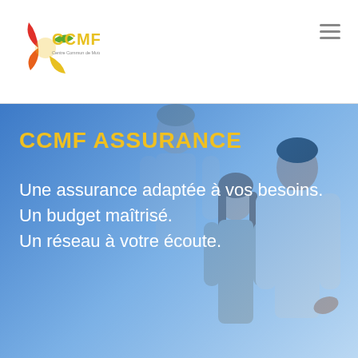[Figure (logo): CCMF logo with colorful star shape and text 'CCMF' in gold, subtitle 'Centre Commun de Mutualité de France']
CCMF ASSURANCE
Une assurance adaptée à vos besoins.
Un budget maîtrisé.
Un réseau à votre écoute.